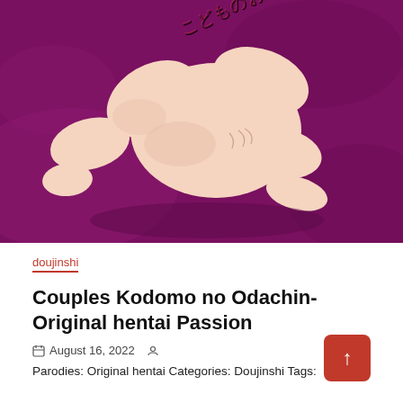[Figure (illustration): Manga/anime style illustration cover art with Japanese text, depicting an anime character on a purple/magenta background. Japanese text reads: こどものおだちん]
doujinshi
Couples Kodomo no Odachin- Original hentai Passion
August 16, 2022
Parodies: Original hentai Categories: Doujinshi Tags: